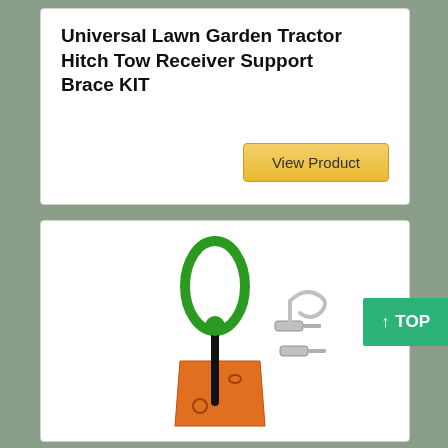Universal Lawn Garden Tractor Hitch Tow Receiver Support Brace KIT
View Product
[Figure (photo): Product photo showing a green hitch pin with oval handle, orange bracket plate with holes, bolts and a cotter pin — a lawn tractor hitch tow receiver support brace kit]
↑ TOP